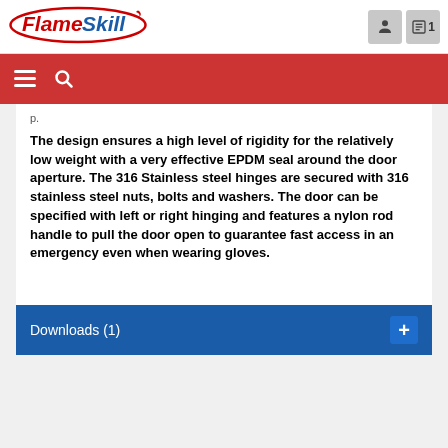FlameSkill
The design ensures a high level of rigidity for the relatively low weight with a very effective EPDM seal around the door aperture. The 316 Stainless steel hinges are secured with 316 stainless steel nuts, bolts and washers. The door can be specified with left or right hinging and features a nylon rod handle to pull the door open to guarantee fast access in an emergency even when wearing gloves.
Downloads (1)